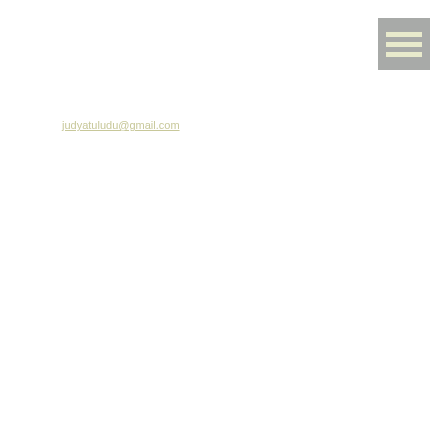[Figure (other): Hamburger menu icon button — a grey square with three horizontal cream/off-white lines, positioned in the top-right corner of the page]
judyatuludu@gmail.com